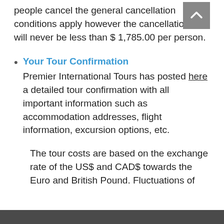people cancel the general cancellation conditions apply however the cancellation fees will never be less than $ 1,785.00 per person.
Your Tour Confirmation
Premier International Tours has posted here a detailed tour confirmation with all important information such as accommodation addresses, flight information, excursion options, etc.
The tour costs are based on the exchange rate of the US$ and CAD$ towards the Euro and British Pound. Fluctuations of the exchange rate of all